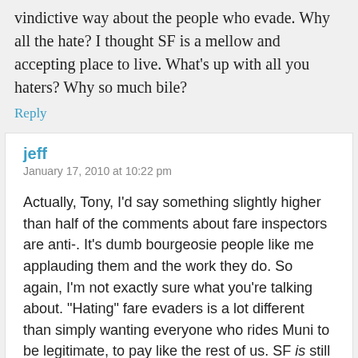vindictive way about the people who evade. Why all the hate? I thought SF is a mellow and accepting place to live. What's up with all you haters? Why so much bile?
Reply
jeff
January 17, 2010 at 10:22 pm
Actually, Tony, I'd say something slightly higher than half of the comments about fare inspectors are anti-. It's dumb bourgeosie people like me applauding them and the work they do. So again, I'm not exactly sure what you're talking about. "Hating" fare evaders is a lot different than simply wanting everyone who rides Muni to be legitimate, to pay like the rest of us. SF is still an extremely permissive place to live. Asking those who ride public transit to pay is hardly a sign of